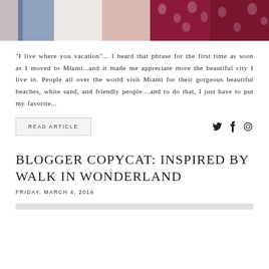[Figure (photo): Top portion of a fashion photo showing clothing — white top and red/white floral patterned fabric]
“I live where you vacation”... I heard that phrase for the first time as soon as I moved to Miami...and it made me appreciate more the beautiful city I live in. People all over the world visit Miami for their gorgeous beautiful beaches, white sand, and friendly people....and to do that, I just have to put my favorite...
READ ARTICLE
BLOGGER COPYCAT: INSPIRED BY WALK IN WONDERLAND
FRIDAY, MARCH 4, 2016